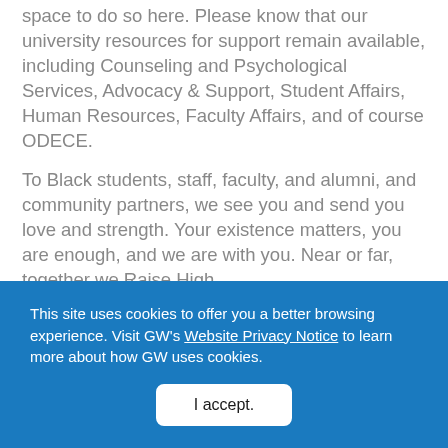space to do so here. Please know that our university resources for support remain available, including Counseling and Psychological Services, Advocacy & Support, Student Affairs, Human Resources, Faculty Affairs, and of course ODECE.
To Black students, staff, faculty, and alumni, and community partners, we see you and send you love and strength. Your existence matters, you are enough, and we are with you. Near or far, together we Raise High.
Peacefully,
This site uses cookies to offer you a better browsing experience. Visit GW's Website Privacy Notice to learn more about how GW uses cookies.